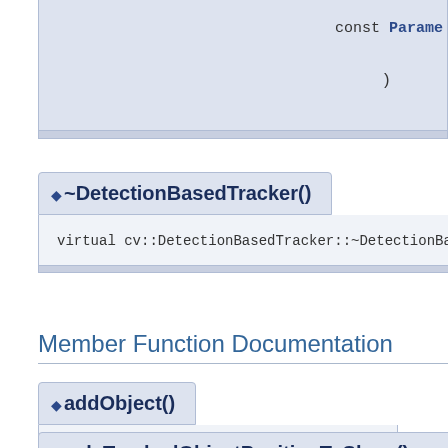const Parame
)
~DetectionBasedTracker()
virtual cv::DetectionBasedTracker::~DetectionBasedTracker ( )
Member Function Documentation
addObject()
virtual int cv::DetectionBasedTracker::addObject ( const cv::Rect &
calcTrackedObjectPositionToShow() [1/2]